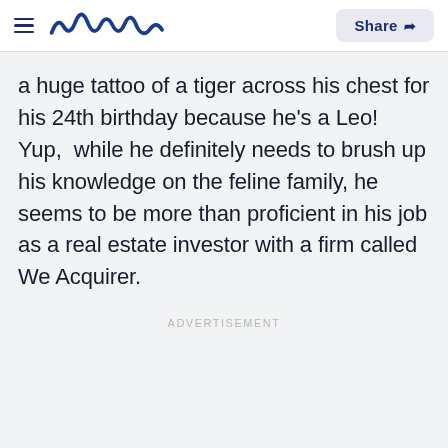meaww | Share
a huge tattoo of a tiger across his chest for his 24th birthday because he's a Leo! Yup,  while he definitely needs to brush up his knowledge on the feline family, he seems to be more than proficient in his job as a real estate investor with a firm called We Acquirer.
ADVERTISEMENT